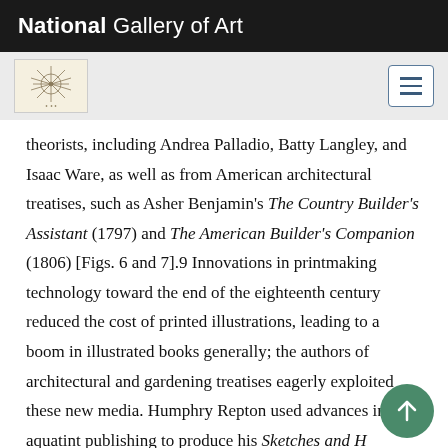National Gallery of Art
theorists, including Andrea Palladio, Batty Langley, and Isaac Ware, as well as from American architectural treatises, such as Asher Benjamin's The Country Builder's Assistant (1797) and The American Builder's Companion (1806) [Figs. 6 and 7].9 Innovations in printmaking technology toward the end of the eighteenth century reduced the cost of printed illustrations, leading to a boom in illustrated books generally; the authors of architectural and gardening treatises eagerly exploited these new media. Humphry Repton used advances in aquatint publishing to produce his Sketches and H[ints on] Landscape Gardening (1794), Observations on the Theory and Practice of Landscape Gardening (1803)